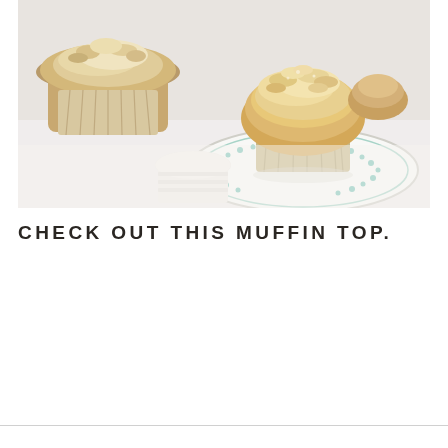[Figure (photo): Close-up photograph of crumb-topped muffins on a decorative white and blue plate on a white surface. The central muffin has a golden streusel/crumb topping and sits in a paper liner on a small oval plate with teal dot border pattern. Another muffin is visible in the foreground left.]
CHECK OUT THIS MUFFIN TOP.